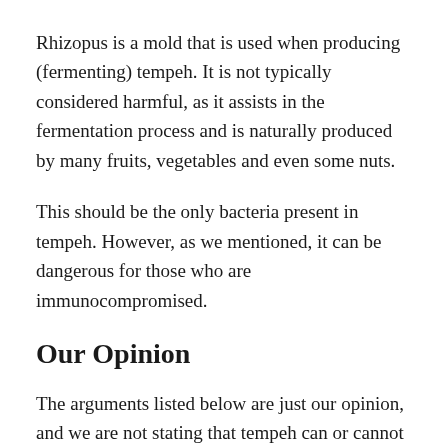Rhizopus is a mold that is used when producing (fermenting) tempeh. It is not typically considered harmful, as it assists in the fermentation process and is naturally produced by many fruits, vegetables and even some nuts.
This should be the only bacteria present in tempeh. However, as we mentioned, it can be dangerous for those who are immunocompromised.
Our Opinion
The arguments listed below are just our opinion, and we are not stating that tempeh can or cannot be consumed raw.
That said, we always believe it is best to choose the